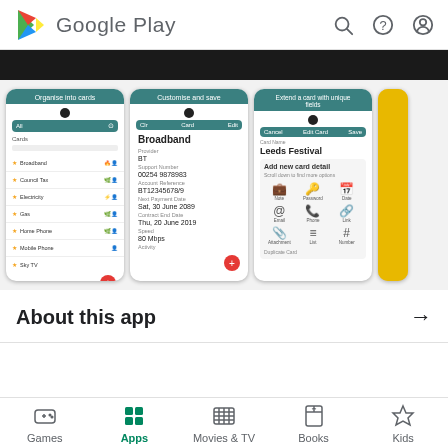Google Play
[Figure (screenshot): Google Play store page showing app screenshots: three phone mockups displaying 'Organise into cards', 'Customise and save', and 'Extend a card with unique fields' screens of a utility app]
About this app →
Games | Apps | Movies & TV | Books | Kids